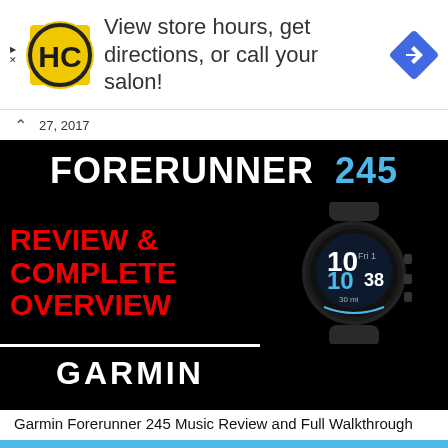[Figure (screenshot): Advertisement banner: HC logo (black circle with HC letters on yellow background), text 'View store hours, get directions, or call your salon!', blue diamond navigation icon on the right. Small play triangle and X icons on the far left.]
27, 2017
[Figure (screenshot): Garmin Forerunner 245 review thumbnail image. Black background with white bold text 'FORERUNNER' and blue '245' at top. Red bold text 'REVIEW & COMPLETE OVERVIEW' on the left side. White bold 'GARMIN' at bottom left. Garmin Forerunner 245 smartwatch photo on the right side showing watch face with '10', 'Fri 1', '10', '38' display.]
Garmin Forerunner 245 Music Review and Full Walkthrough
October 12, 2019